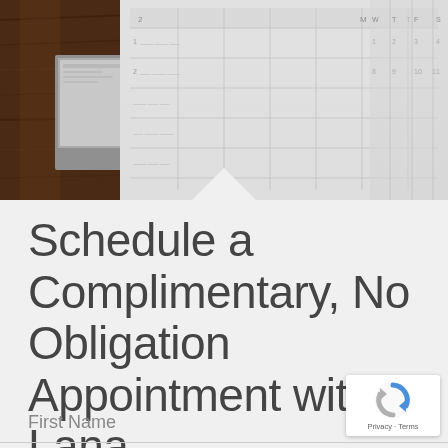[Figure (photo): Photo of a desk scene showing a calendar/planner and a laptop or device on a dark wood desk surface, viewed from above at an angle. A white triangular chevron/pointer shape is visible at the bottom of the photo area.]
Schedule a Complimentary, No Obligation Appointment with Lana
First Name
[Figure (logo): Google reCAPTCHA badge showing the reCAPTCHA logo (circular arrow icon in blue) and the text 'Privacy · Terms']